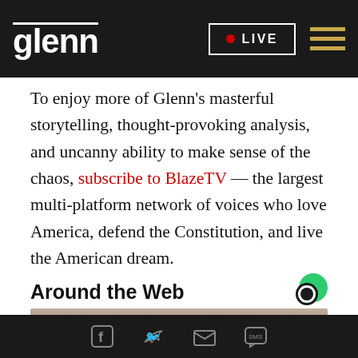glenn | LIVE
To enjoy more of Glenn’s masterful storytelling, thought-provoking analysis, and uncanny ability to make sense of the chaos, subscribe to BlazeTV — the largest multi-platform network of voices who love America, defend the Constitution, and live the American dream.
Around the Web
[Figure (photo): Partial photo of a woman with blonde hair visible at the bottom of the page]
Social share icons: Facebook, Twitter, Email, SMS